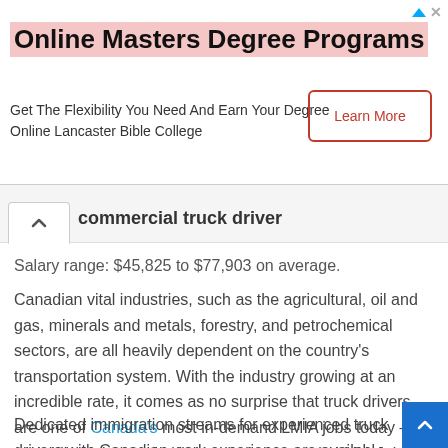[Figure (screenshot): Advertisement banner for Online Masters Degree Programs from Lancaster Bible College with a Learn More button]
commercial truck driver
Salary range: $45,825 to $77,903 on average.
Canadian vital industries, such as the agricultural, oil and gas, minerals and metals, forestry, and petrochemical sectors, are all heavily dependent on the country's transportation system. With the industry growing at an incredible rate, it comes as no surprise that truck drivers are one of Canada's most in-demand LMIA jobs today – and will continue to be for some time to go in LMIA Jobs.
Dedicated immigration streams for experienced truck drivers with Canadian work experience are available...